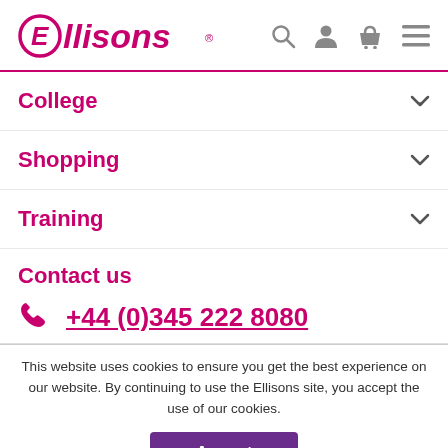Ellisons
College
Shopping
Training
Contact us
+44 (0)345 222 8080
This website uses cookies to ensure you get the best experience on our website. By continuing to use the Ellisons site, you accept the use of our cookies.
Accept